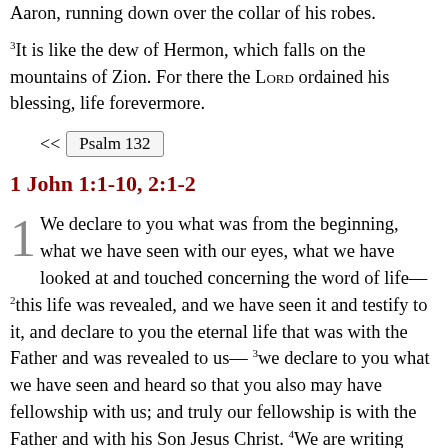It is like the precious oil on the head, running down upon the beard, on the beard of Aaron, running down over the collar of his robes.
3It is like the dew of Hermon, which falls on the mountains of Zion. For there the LORD ordained his blessing, life forevermore.
<< Psalm 132
1 John 1:1-10, 2:1-2
1 We declare to you what was from the beginning, what we have heard, what we have seen with our eyes, what we have looked at and touched with our hands, concerning the word of life— 2this life was revealed, and we have seen it and testify to it, and declare to you the eternal life that was with the Father and was revealed to us— 3we declare to you what we have seen and heard so that you also may have fellowship with us; and truly our fellowship is with the Father and with his Son Jesus Christ. 4We are writing these things so that our joy may be complete.
5This is the message we have heard from him and proclaim to you, that God is light, and in him there is no darkness at all. 6If we say that we have